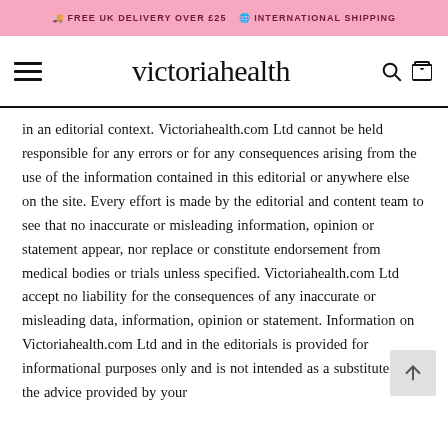🚚 FREE UK DELIVERY OVER £25  🌐 INTERNATIONAL SHIPPING
victoriahealth
in an editorial context. Victoriahealth.com Ltd cannot be held responsible for any errors or for any consequences arising from the use of the information contained in this editorial or anywhere else on the site. Every effort is made by the editorial and content team to see that no inaccurate or misleading information, opinion or statement appear, nor replace or constitute endorsement from medical bodies or trials unless specified. Victoriahealth.com Ltd accept no liability for the consequences of any inaccurate or misleading data, information, opinion or statement. Information on Victoriahealth.com Ltd and in the editorials is provided for informational purposes only and is not intended as a substitute for the advice provided by your